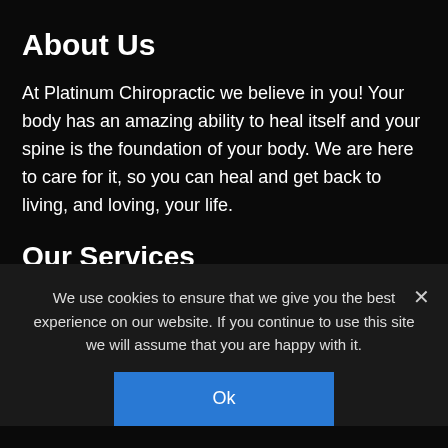About Us
At Platinum Chiropractic we believe in you! Your body has an amazing ability to heal itself and your spine is the foundation of your body. We are here to care for it, so you can heal and get back to living, and loving, your life.
Our Services
Complimentary Consultation
We use cookies to ensure that we give you the best experience on our website. If you continue to use this site we will assume that you are happy with it.